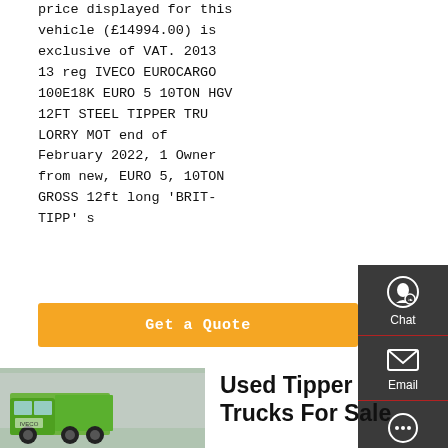price displayed for this vehicle (£14994.00) is exclusive of VAT. 2013 13 reg IVECO EUROCARGO 100E18K EURO 5 10TON HGV 12FT STEEL TIPPER TRUCK LORRY MOT end of February 2022, 1 Owner from new, EURO 5, 10TON GROSS 12ft long 'BRIT-TIPP' s
[Figure (other): Orange 'Get a Quote' button]
[Figure (photo): Green tipper truck parked in front of a building]
Used Tipper Trucks For Sale